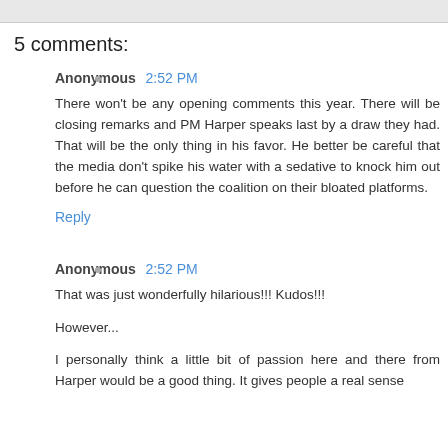5 comments:
Anonymous 2:52 PM
There won't be any opening comments this year. There will be closing remarks and PM Harper speaks last by a draw they had. That will be the only thing in his favor. He better be careful that the media don't spike his water with a sedative to knock him out before he can question the coalition on their bloated platforms.
Reply
Anonymous 2:52 PM
That was just wonderfully hilarious!!! Kudos!!!
However...
I personally think a little bit of passion here and there from Harper would be a good thing. It gives people a real sense